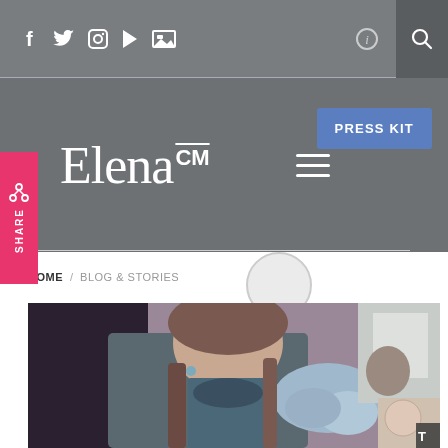Social media icons: f, twitter, instagram, play, image. Info icon. Search icon.
ElenaCM
PRESS KIT
SHARE
HOME / BLOG & STORIES
[Figure (photo): Woman with straight brown hair holding flowers in a café-like setting, looking thoughtfully to the side. Purple/blue flowers visible in foreground. Another person visible in background.]